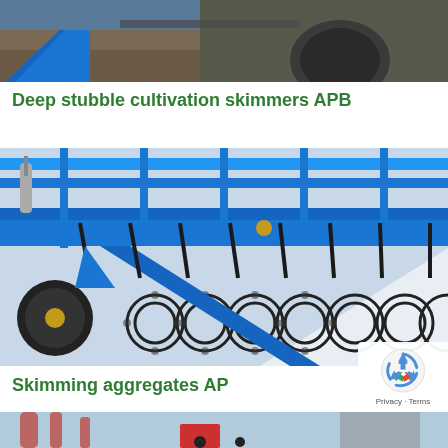[Figure (photo): Top portion of agricultural machinery, partially cropped, showing blue metallic components against a dark background with soil]
Deep stubble cultivation skimmers APB
[Figure (photo): Close-up photograph of a blue stubble cultivation skimmer machine (APB) showing disc harrow components, ring rollers, tines and mechanical arms, predominantly blue with black cultivation elements]
Skimming aggregates AP
[Figure (photo): Bottom portion of red agricultural field equipment, partially visible at base of page]
[Figure (other): reCAPTCHA privacy badge overlay in bottom-right corner with recycling arrow icon and Privacy·Terms text]